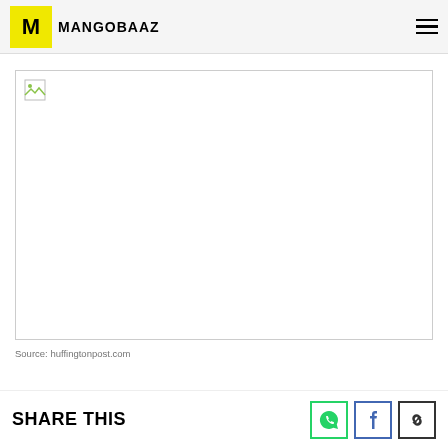MANGOBAAZ
[Figure (photo): Broken/unloaded image placeholder with border]
Source: huffingtonpost.com
SHARE THIS